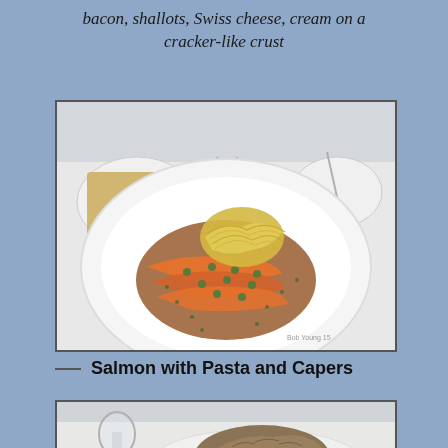bacon, shallots, Swiss cheese, cream on a cracker-like crust
[Figure (photo): A white plate with salmon fillets topped with capers in a brown sauce, garnished with green herbs, with a nest of thin pasta on top. Other dishes visible in background on a white tablecloth.]
— Salmon with Pasta and Capers
[Figure (photo): A plate with a mound of rice dish, partially visible, with green herbs, and a wine glass visible at left. White tablecloth setting.]